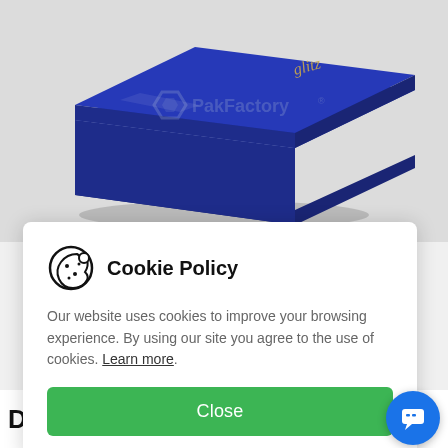[Figure (photo): A navy blue glossy drawer-style watch box photographed at an angle on a light gray background. The box has a rectangular shape with a lid. A semi-transparent PakFactory watermark logo is overlaid on the image.]
Cookie Policy
Our website uses cookies to improve your browsing experience. By using our site you agree to the use of cookies. Learn more.
Close
Drawer Style Watch Box with